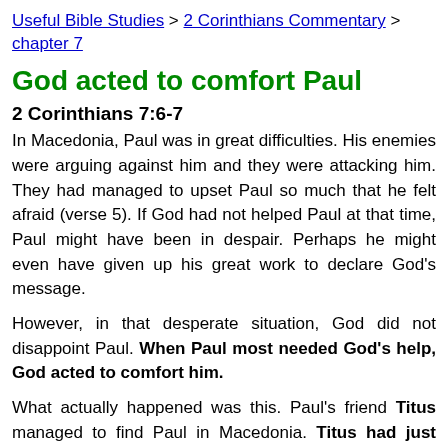Useful Bible Studies > 2 Corinthians Commentary > chapter 7
God acted to comfort Paul
2 Corinthians 7:6-7
In Macedonia, Paul was in great difficulties. His enemies were arguing against him and they were attacking him. They had managed to upset Paul so much that he felt afraid (verse 5). If God had not helped Paul at that time, Paul might have been in despair. Perhaps he might even have given up his great work to declare God’s message.
However, in that desperate situation, God did not disappoint Paul. When Paul most needed God’s help, God acted to comfort him.
What actually happened was this. Paul’s friend Titus managed to find Paul in Macedonia. Titus had just been to Corinth, and he brought good news about the Christians there. They were serving God loyally, and they had followed the advice in Paul’s letter to them. Titus told Paul that the